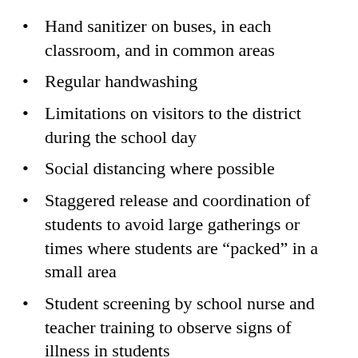Hand sanitizer on buses, in each classroom, and in common areas
Regular handwashing
Limitations on visitors to the district during the school day
Social distancing where possible
Staggered release and coordination of students to avoid large gatherings or times where students are “packed” in a small area
Student screening by school nurse and teacher training to observe signs of illness in students
Optional masks for students and staff (Mandatory in some situations)
Quarantine room for students waiting to